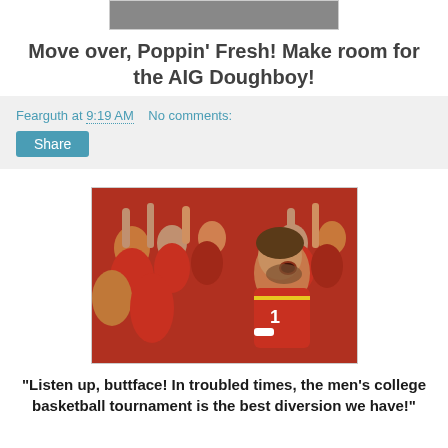[Figure (photo): Partial photo visible at top of page, cropped]
Move over, Poppin' Fresh! Make room for the AIG Doughboy!
Fearguth at 9:19 AM   No comments:
[Figure (photo): Basketball player in red jersey shouting, surrounded by crowd of fans in red]
"Listen up, buttface! In troubled times, the men's college basketball tournament is the best diversion we have!"